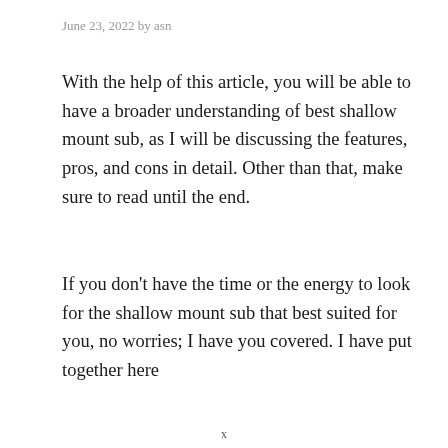June 23, 2022 by asn
With the help of this article, you will be able to have a broader understanding of best shallow mount sub, as I will be discussing the features, pros, and cons in detail. Other than that, make sure to read until the end.
If you don’t have the time or the energy to look for the shallow mount sub that best suited for you, no worries; I have you covered. I have put together here